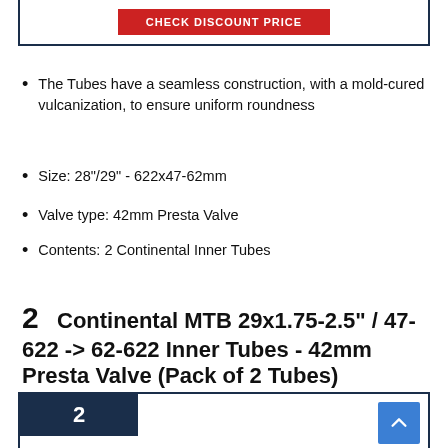[Figure (other): Red CHECK DISCOUNT PRICE button inside a dark navy bordered box]
The Tubes have a seamless construction, with a mold-cured vulcanization, to ensure uniform roundness
Size: 28"/29" - 622x47-62mm
Valve type: 42mm Presta Valve
Contents: 2 Continental Inner Tubes
New in Bulk Packaging
2   Continental MTB 29x1.75-2.5" / 47-622 -> 62-622 Inner Tubes - 42mm Presta Valve (Pack of 2 Tubes)
[Figure (photo): Product listing card with navy border, number badge '2' in dark navy background, scroll-to-top button in blue, and orange product box image at bottom]